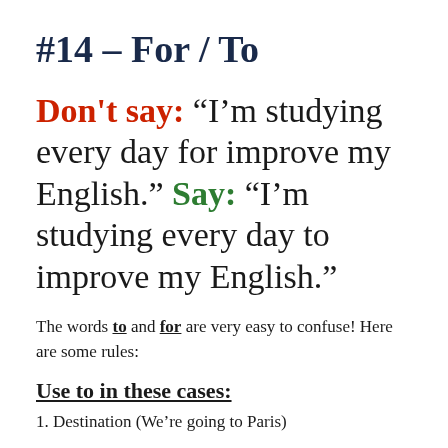#14 – For / To
Don't say: “I’m studying every day for improve my English.” Say: “I’m studying every day to improve my English.”
The words to and for are very easy to confuse! Here are some rules:
Use to in these cases:
1. Destination (We’re going to Paris)